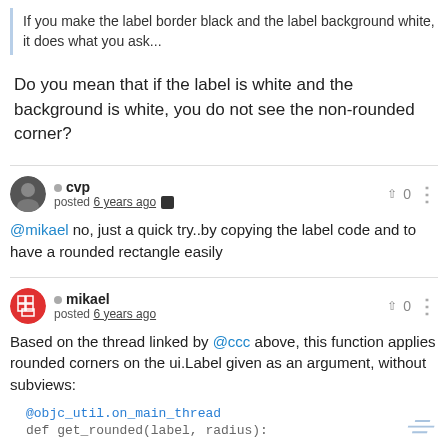If you make the label border black and the label background white, it does what you ask...
Do you mean that if the label is white and the background is white, you do not see the non-rounded corner?
cvp
posted 6 years ago
@mikael no, just a quick try..by copying the label code and to have a rounded rectangle easily
mikael
posted 6 years ago
Based on the thread linked by @ccc above, this function applies rounded corners on the ui.Label given as an argument, without subviews:
@objc_util.on_main_thread
def get_rounded(label, radius):